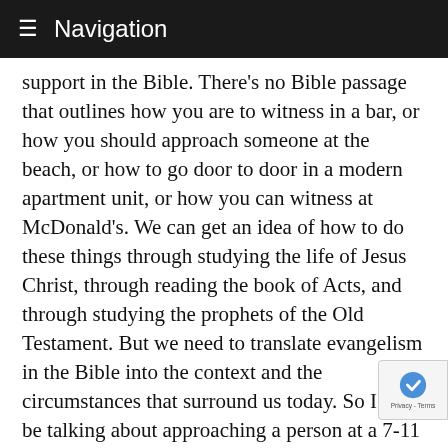≡ Navigation
support in the Bible. There's no Bible passage that outlines how you are to witness in a bar, or how you should approach someone at the beach, or how to go door to door in a modern apartment unit, or how you can witness at McDonald's. We can get an idea of how to do these things through studying the life of Jesus Christ, through reading the book of Acts, and through studying the prophets of the Old Testament. But we need to translate evangelism in the Bible into the context and the circumstances that surround us today. So I may be talking about approaching a person at a 7-11 store or at a rock-and-roll concert, or in someone's house or at a church service. There will be a wide range of approaches, but the purpose is always the same: to lead a person to know Jesus Christ as his personal Savior and Lord. Regardless of where they